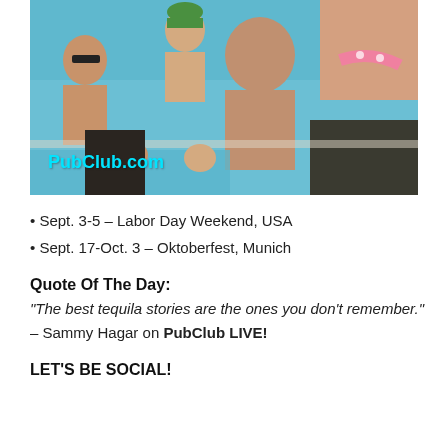[Figure (photo): Pool party scene with people in swimwear, featuring a watermark reading PubClub.com in cyan text]
• Sept. 3-5 – Labor Day Weekend, USA
• Sept. 17-Oct. 3 – Oktoberfest, Munich
Quote Of The Day:
“The best tequila stories are the ones you don’t remember.”
– Sammy Hagar on PubClub LIVE!
LET'S BE SOCIAL!